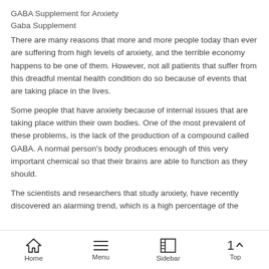GABA Supplement for Anxiety
Gaba Supplement
There are many reasons that more and more people today than ever are suffering from high levels of anxiety, and the terrible economy happens to be one of them. However, not all patients that suffer from this dreadful mental health condition do so because of events that are taking place in the lives.
Some people that have anxiety because of internal issues that are taking place within their own bodies. One of the most prevalent of these problems, is the lack of the production of a compound called GABA. A normal person’s body produces enough of this very important chemical so that their brains are able to function as they should.
The scientists and researchers that study anxiety, have recently discovered an alarming trend, which is a high percentage of the
Home   Menu   Sidebar   Top